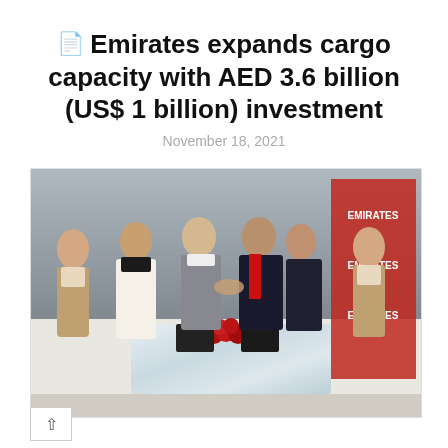Emirates expands cargo capacity with AED 3.6 billion (US$ 1 billion) investment
November 18, 2021
[Figure (photo): Group photo of six people at a signing ceremony at a marble table. Two Emirates cabin crew in uniform on the far ends, a man in white traditional Gulf attire second from left, and three men in business suits in the center, two of whom are shaking hands. Red roses on the table. Emirates branded backdrop visible on the right.]